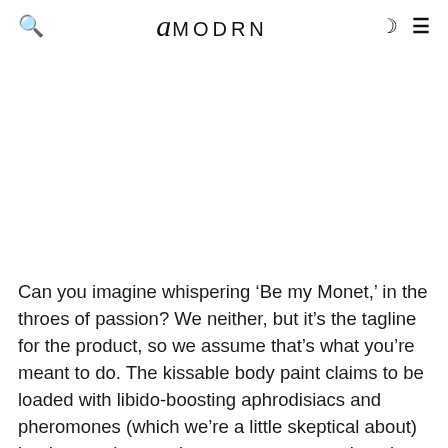amodrn
Can you imagine whispering ‘Be my Monet,’ in the throes of passion? We neither, but it’s the tagline for the product, so we assume that’s what you’re meant to do. The kissable body paint claims to be loaded with libido-boosting aphrodisiacs and pheromones (which we’re a little skeptical about) but hey, at the very least you get to eat chocolate and lick your partner from head to toe.